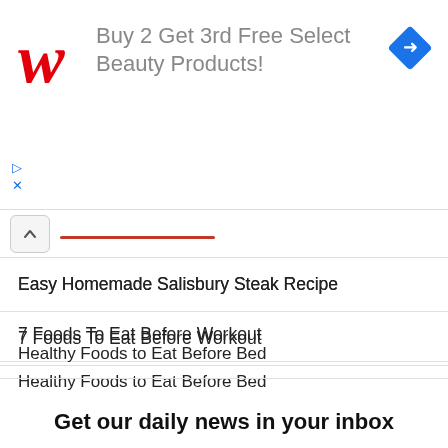[Figure (logo): Walgreens W logo in red script, advertisement banner: Buy 2 Get 3rd Free Select Beauty Products! with blue diamond navigation icon]
Easy Homemade Salisbury Steak Recipe
7 Foods To Eat Before Workout
Healthy Foods to Eat Before Bed
The Benefits and Side Effects of Eating Dried Mangoes
3 Delicious Chicken Liver Recipes
Get our daily news in your inbox